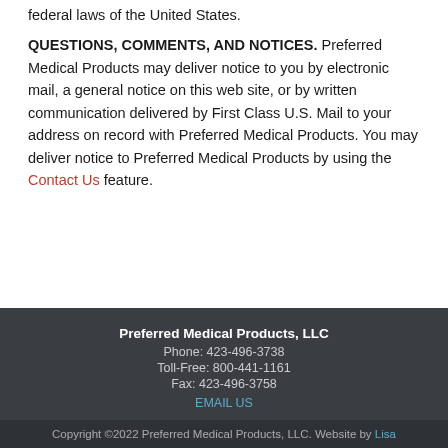federal laws of the United States.
QUESTIONS, COMMENTS, AND NOTICES. Preferred Medical Products may deliver notice to you by electronic mail, a general notice on this web site, or by written communication delivered by First Class U.S. Mail to your address on record with Preferred Medical Products. You may deliver notice to Preferred Medical Products by using the Contact Us feature.
Preferred Medical Products, LLC
Phone: 423-496-3738
Toll-Free: 800-441-1161
Fax: 423-496-3758
EMAIL US
Copyright ©2022 Preferred Medical Products, LLC. Website by Lisa